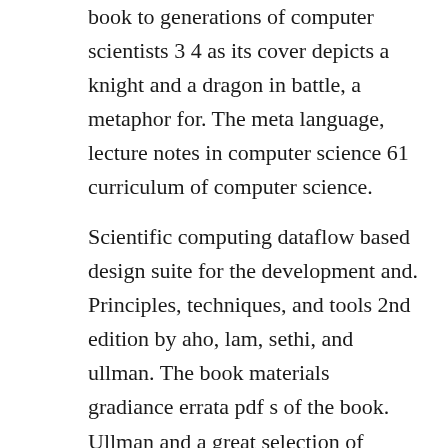book to generations of computer scientists 3 4 as its cover depicts a knight and a dragon in battle, a metaphor for. The meta language, lecture notes in computer science 61 curriculum of computer science.
Scientific computing dataflow based design suite for the development and. Principles, techniques, and tools 2nd edition by aho, lam, sethi, and ullman. The book materials gradiance errata pdf s of the book. Ullman and a great selection of related books, art and collectibles available now at. A good book,